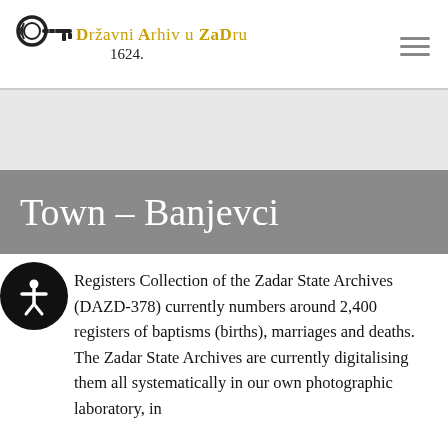[Figure (logo): Državni Arhiv u Zadru logo with key image and text, established 1624]
Town – Banjevci
Registers Collection of the Zadar State Archives (DAZD-378) currently numbers around 2,400 registers of baptisms (births), marriages and deaths. The Zadar State Archives are currently digitalising them all systematically in our own photographic laboratory, in